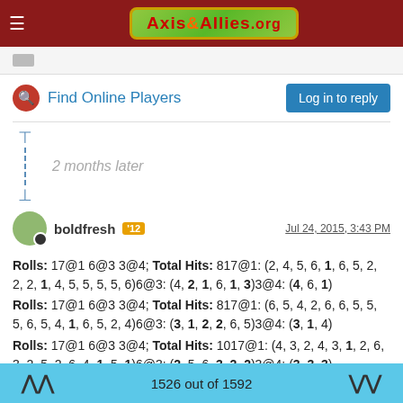Axis & Allies.org
Find Online Players
Log in to reply
2 months later
boldfresh '12 — Jul 24, 2015, 3:43 PM
Rolls: 17@1 6@3 3@4; Total Hits: 817@1: (2, 4, 5, 6, 1, 6, 5, 2, 2, 2, 1, 4, 5, 5, 5, 5, 6)6@3: (4, 2, 1, 6, 1, 3)3@4: (4, 6, 1)
Rolls: 17@1 6@3 3@4; Total Hits: 817@1: (6, 5, 4, 2, 6, 6, 5, 5, 5, 6, 5, 4, 1, 6, 5, 2, 4)6@3: (3, 1, 2, 2, 6, 5)3@4: (3, 1, 4)
Rolls: 17@1 6@3 3@4; Total Hits: 1017@1: (4, 3, 2, 4, 3, 1, 2, 6, 3, 2, 5, 2, 6, 4, 1, 5, 1)6@3: (2, 5, 6, 3, 2, 2)3@4: (3, 3, 3)
Rolls: 17@1 6@3 3@4; Total Hits: 817@1: (3, 1, 6, 3, 5, 4, 5, 6, 1, 2, 1, 2, 2, 3, 4, 1, 4)6@3: (3, 4, 5, 1, 5, 6)3@4: (6, 4, 3)
Rolls: 17@1 6@3 3@4; Total Hits: 717@1: (1, 6, 6, 3, 3, 2, 4, 3,
1526 out of 1592